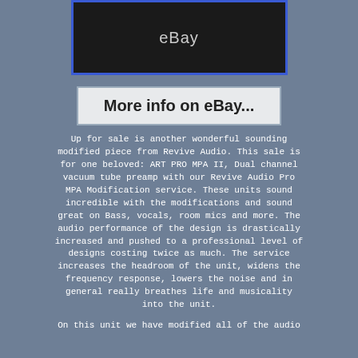[Figure (photo): Product photo of an audio device with eBay watermark, dark background, blue border]
[Figure (screenshot): Button/link reading 'More info on eBay...' with gray border on light gray background]
Up for sale is another wonderful sounding modified piece from Revive Audio. This sale is for one beloved: ART PRO MPA II, Dual channel vacuum tube preamp with our Revive Audio Pro MPA Modification service. These units sound incredible with the modifications and sound great on Bass, vocals, room mics and more. The audio performance of the design is drastically increased and pushed to a professional level of designs costing twice as much. The service increases the headroom of the unit, widens the frequency response, lowers the noise and in general really breathes life and musicality into the unit.
On this unit we have modified all of the audio